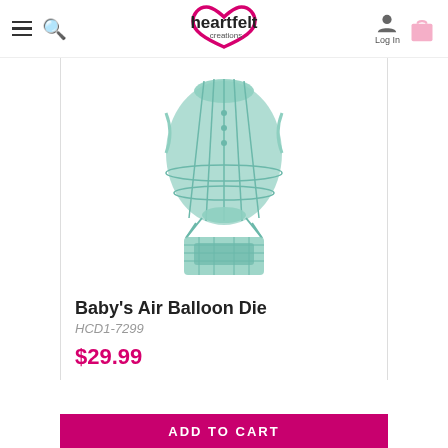Heartfelt Creations — Log In
[Figure (illustration): Mint green hot air balloon die cut illustration with decorative basket and rope details]
Baby's Air Balloon Die
HCD1-7299
$29.99
ADD TO CART